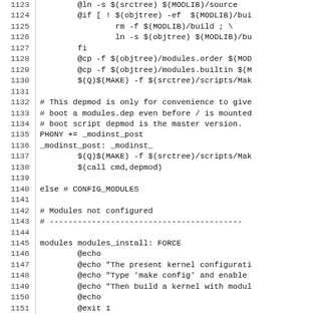[Figure (screenshot): Source code listing (Makefile) showing lines 1123–1152 with line numbers on the left and code content on the right in monospace font]